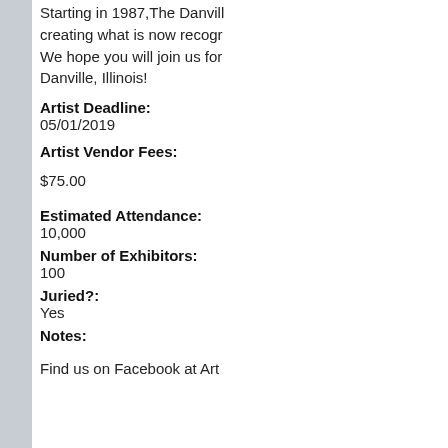Starting in 1987, The Danville creating what is now recog... We hope you will join us for... Danville, Illinois!
Artist Deadline:
05/01/2019
Artist Vendor Fees:
$75.00
Estimated Attendance:
10,000
Number of Exhibitors:
100
Juried?:
Yes
Notes:
Find us on Facebook at Art